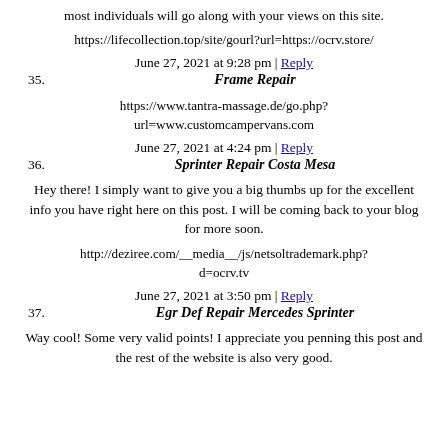most individuals will go along with your views on this site.
https://lifecollection.top/site/gourl?url=https://ocrv.store/
June 27, 2021 at 9:28 pm | Reply
35. Frame Repair
https://www.tantra-massage.de/go.php?url=www.customcampervans.com
June 27, 2021 at 4:24 pm | Reply
36. Sprinter Repair Costa Mesa
Hey there! I simply want to give you a big thumbs up for the excellent info you have right here on this post. I will be coming back to your blog for more soon.
http://deziree.com/__media__/js/netsoltrademark.php?d=ocrv.tv
June 27, 2021 at 3:50 pm | Reply
37. Egr Def Repair Mercedes Sprinter
Way cool! Some very valid points! I appreciate you penning this post and the rest of the website is also very good.